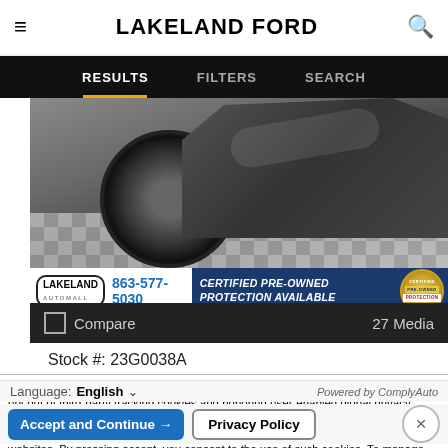LAKELAND FORD
RESULTS   FILTERS   SEARCH
[Figure (photo): Car front-end/wheel detail photo with checkered floor, Lakeland Automall dealer banner with phone 863-577-5030 and Certified Pre-Owned Protection Available badge]
Compare   27 Media
Stock #: 23G0038A
WE VALUE YOUR PRIVACY: We respect consumer privacy rights by letting visitors opt out of third-party tracking cookies and honoring user-enabled global privacy controls, like the GPC signal. This site deploys cookies and similar tracking technologies to build profiles, serve ads, and personalize your experience across websites. By pressing accept, you consent to the use of such cookies. To manage your privacy rights or view the categories of personal information we collect and the purposes for which the information is used, click here.
Language: English  ∨   Powered by ComplyAuto
Accept and Continue →   Privacy Policy   ×